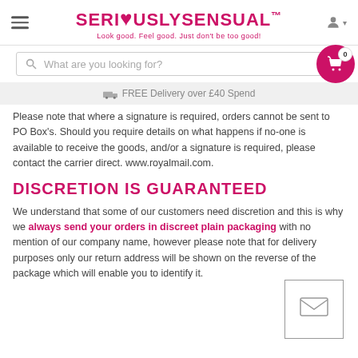SERI♥USLYSENSUAL™ — Look good. Feel good. Just don't be too good!
What are you looking for?
FREE Delivery over £40 Spend
Please note that where a signature is required, orders cannot be sent to PO Box's. Should you require details on what happens if no-one is available to receive the goods, and/or a signature is required, please contact the carrier direct. www.royalmail.com.
DISCRETION IS GUARANTEED
We understand that some of our customers need discretion and this is why we always send your orders in discreet plain packaging with no mention of our company name, however please note that for delivery purposes only our return address will be shown on the reverse of the package which will enable you to identify it.